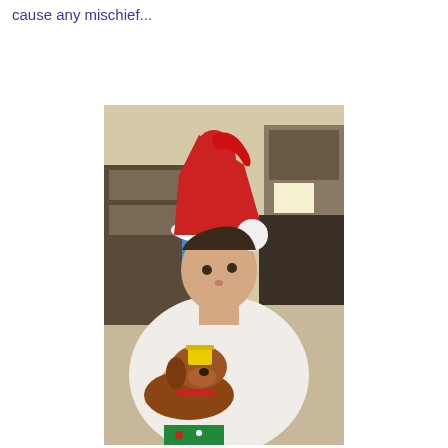cause any mischief...
[Figure (photo): A young man wearing a red and white Santa Claus hat, dressed in a white t-shirt, looking down at a small brown dachshund dog that has a yellow cup balanced on its head. The setting appears to be an indoor room or office with shelving and equipment in the background.]